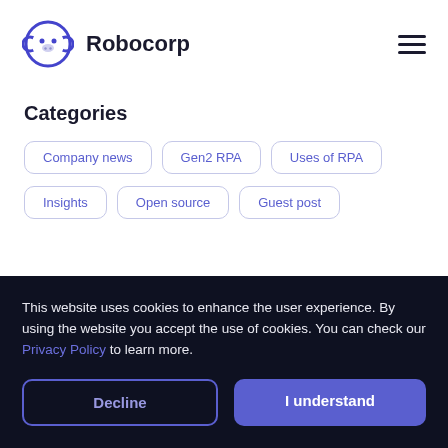[Figure (logo): Robocorp logo: a blue circle with a monkey face icon and the text 'Robocorp' in bold dark navy]
Categories
Company news
Gen2 RPA
Uses of RPA
Insights
Open source
Guest post
This website uses cookies to enhance the user experience. By using the website you accept the use of cookies. You can check our Privacy Policy to learn more.
Decline
I understand